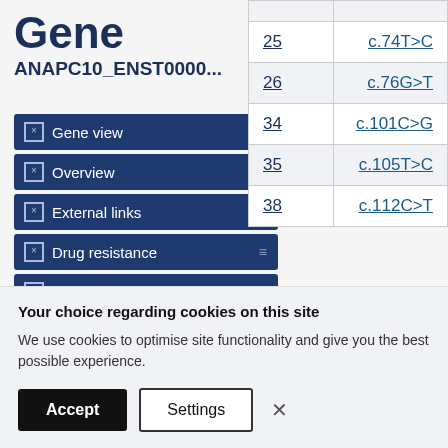Gene
ANAPC10_ENST0000...
Gene view
Overview
External links
Drug resistance
Tissue distribution
Genome browser
Mutation distribution
|  |  |
| --- | --- |
| 25 | c.74T>C |
| 26 | c.76G>T |
| 34 | c.101C>G |
| 35 | c.105T>C |
| 38 | c.112C>T |
Your choice regarding cookies on this site
We use cookies to optimise site functionality and give you the best possible experience.
Accept
Settings